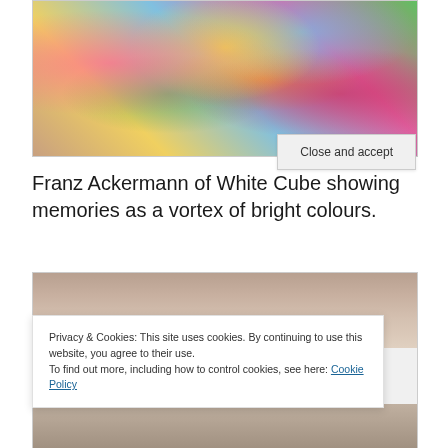[Figure (photo): Franz Ackermann artwork showing colorful abstract swirling shapes and patterns — a vortex of bright colours including pink, yellow, red, green, blue, and orange forms.]
Franz Ackermann of White Cube showing memories as a vortex of bright colours.
[Figure (photo): Partial view of another artwork, brownish/golden toned with textured surface, partially obscured by cookie banner.]
Privacy & Cookies: This site uses cookies. By continuing to use this website, you agree to their use.
To find out more, including how to control cookies, see here: Cookie Policy
Close and accept